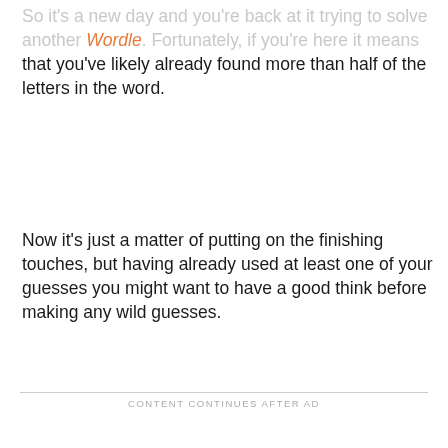So it's a new day and you're back at it trying to solve another Wordle. Fortunately, if you're here it means that you've likely already found more than half of the letters in the word.
Now it's just a matter of putting on the finishing touches, but having already used at least one of your guesses you might want to have a good think before making any wild guesses.
CONTENT CONTINUES AFTER AD